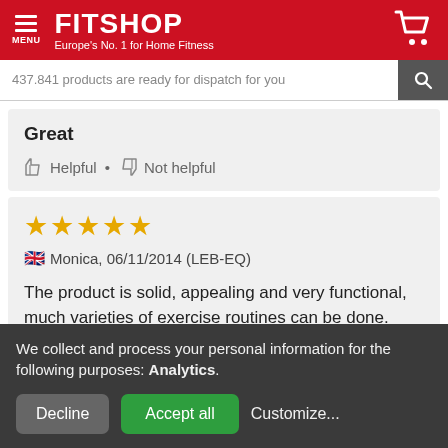FITSHOP — Europe's No. 1 for Home Fitness
437.841 products are ready for dispatch for you
Great
👍 Helpful • 👎 Not helpful
★★★★★ Monica, 06/11/2014 (LEB-EQ)
The product is solid, appealing and very functional, much varieties of exercise routines can be done. Easy to assemble and disassemble.
We collect and process your personal information for the following purposes: Analytics.
Decline   Accept all   Customize...